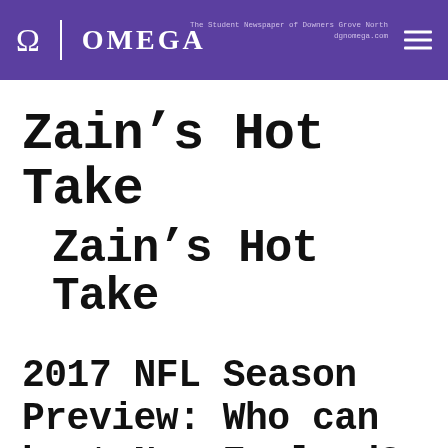Ω | OMEGA — The Student Newspaper of Downers Grove North
Zain's Hot Take
Zain's Hot Take
2017 NFL Season Preview: Who can beat New England?